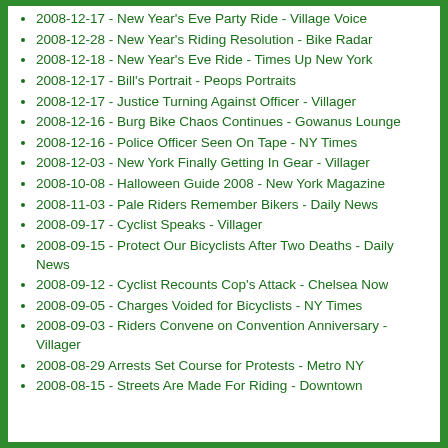2008-12-17 - New Year's Eve Party Ride - Village Voice
2008-12-28 - New Year's Riding Resolution - Bike Radar
2008-12-18 - New Year's Eve Ride - Times Up New York
2008-12-17 - Bill's Portrait - Peops Portraits
2008-12-17 - Justice Turning Against Officer - Villager
2008-12-16 - Burg Bike Chaos Continues - Gowanus Lounge
2008-12-16 - Police Officer Seen On Tape - NY Times
2008-12-03 - New York Finally Getting In Gear - Villager
2008-10-08 - Halloween Guide 2008 - New York Magazine
2008-11-03 - Pale Riders Remember Bikers - Daily News
2008-09-17 - Cyclist Speaks - Villager
2008-09-15 - Protect Our Bicyclists After Two Deaths - Daily News
2008-09-12 - Cyclist Recounts Cop's Attack - Chelsea Now
2008-09-05 - Charges Voided for Bicyclists - NY Times
2008-09-03 - Riders Convene on Convention Anniversary - Villager
2008-08-29 Arrests Set Course for Protests - Metro NY
2008-08-15 - Streets Are Made For Riding - Downtown